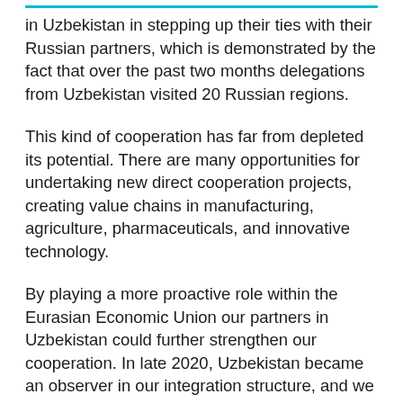in Uzbekistan in stepping up their ties with their Russian partners, which is demonstrated by the fact that over the past two months delegations from Uzbekistan visited 20 Russian regions.
This kind of cooperation has far from depleted its potential. There are many opportunities for undertaking new direct cooperation projects, creating value chains in manufacturing, agriculture, pharmaceuticals, and innovative technology.
By playing a more proactive role within the Eurasian Economic Union our partners in Uzbekistan could further strengthen our cooperation. In late 2020, Uzbekistan became an observer in our integration structure, and we are certain that this will benefit Uzbekistan and all EAEU member states.
Of course, region-to-region ties are not just about the economy or trade. We have built a solid record of accomplishments in working together on protecting the environment, water